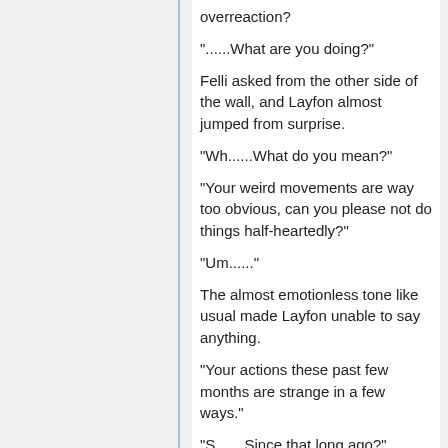overreaction?
"......What are you doing?"
Felli asked from the other side of the wall, and Layfon almost jumped from surprise.
"Wh......What do you mean?"
"Your weird movements are way too obvious, can you please not do things half-heartedly?"
"Um......"
The almost emotionless tone like usual made Layfon unable to say anything.
"Your actions these past few months are strange in a few ways."
"S.......Since that long ago?"
Felli traced back even farther than Layfon had thought about just now.